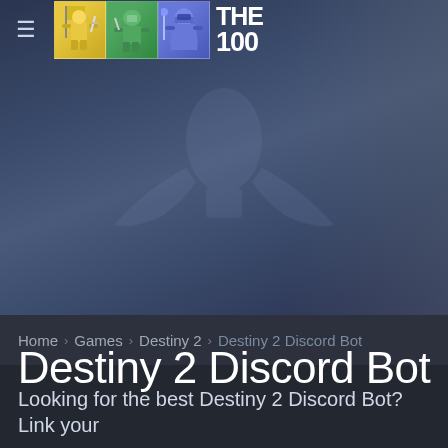THE 100 (logo/navigation)
Destiny 2 Discord Bot
Home › Games › Destiny 2 › Destiny 2 Discord Bot
Looking for the best Destiny 2 Discord Bot? Link your